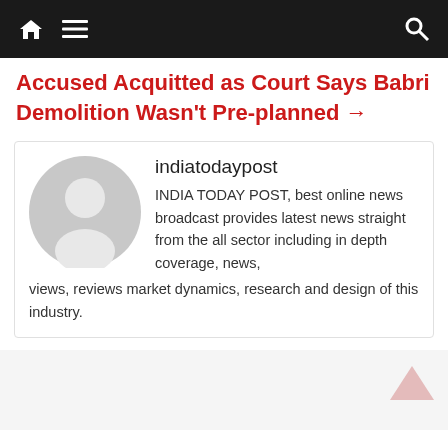[Figure (screenshot): Website navigation bar with home icon, hamburger menu icon on left and search icon on right, dark background]
Accused Acquitted as Court Says Babri Demolition Wasn't Pre-planned →
[Figure (illustration): Author card with grey default avatar (circular user silhouette), author name 'indiatodaypost', and bio text about INDIA TODAY POST news broadcast]
indiatodaypost
INDIA TODAY POST, best online news broadcast provides latest news straight from the all sector including in depth coverage, news, views, reviews market dynamics, research and design of this industry.